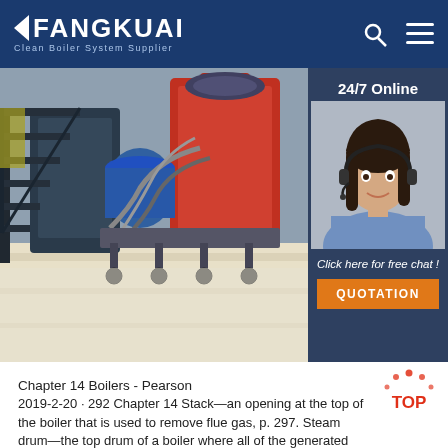FANGKUAI - Clean Boiler System Supplier
[Figure (photo): Industrial boiler room with red and blue boilers, black metal stairs, and equipment on a reflective white floor. Right side shows a 24/7 online chat widget with a female customer service representative wearing a headset, and a QUOTATION button.]
Chapter 14 Boilers - Pearson
2019-2-20 · 292 Chapter 14 Stack—an opening at the top of the boiler that is used to remove flue gas, p. 297. Steam drum—the top drum of a boiler where all of the generated steam is collected before entering the distribution system, p. 293. Steam trap—a